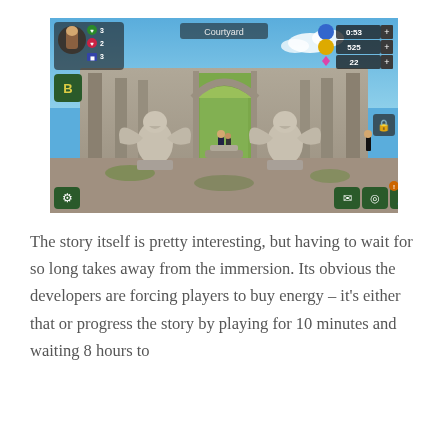[Figure (screenshot): Screenshot of a Harry Potter mobile game showing a courtyard scene with two winged griffin statues flanking a central archway. The game UI shows: top-left player avatar with stats (3, 2, 3), center title 'Courtyard', top-right shows timer 0:53, coins 525, gems 22. Bottom-left has a settings gear icon, bottom-right has inventory/wardrobe icons.]
The story itself is pretty interesting, but having to wait for so long takes away from the immersion. Its obvious the developers are forcing players to buy energy – it's either that or progress the story by playing for 10 minutes and waiting 8 hours to